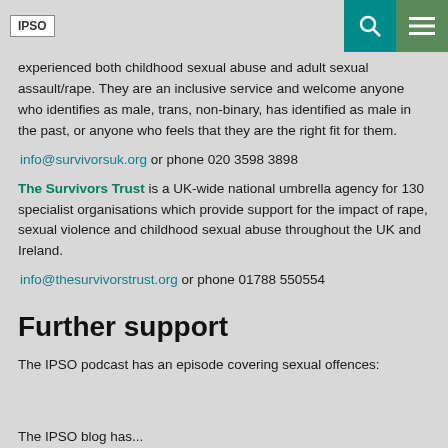IPSO [logo] [search icon] [menu icon]
experienced both childhood sexual abuse and adult sexual assault/rape. They are an inclusive service and welcome anyone who identifies as male, trans, non-binary, has identified as male in the past, or anyone who feels that they are the right fit for them.
info@survivorsuk.org or phone 020 3598 3898
The Survivors Trust is a UK-wide national umbrella agency for 130 specialist organisations which provide support for the impact of rape, sexual violence and childhood sexual abuse throughout the UK and Ireland.
info@thesurvivorstrust.org or phone 01788 550554
Further support
The IPSO podcast has an episode covering sexual offences:
The IPSO blog has...